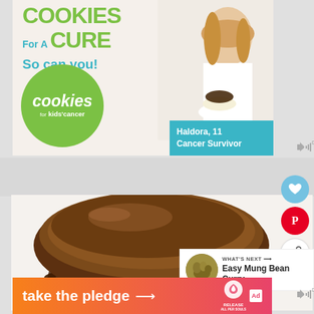[Figure (advertisement): Cookies for a Cure advertisement banner featuring a young girl holding cookies, with green and teal branding for 'cookies for kids cancer'. Text reads 'COOKIES For A CURE So can you! Haldora, 11 Cancer Survivor']
[Figure (photo): Close-up photograph of a chocolate-frosted whoopie pie cookie or similar round baked good with thick chocolate ganache topping, dark cookie base visible underneath]
[Figure (infographic): Social media action buttons: blue heart/save button, red Pinterest button, share button with plus icon]
[Figure (infographic): What's Next panel showing thumbnail image of mung beans and text 'WHAT'S NEXT → Easy Mung Bean Curry']
[Figure (advertisement): Orange-to-pink gradient banner ad reading 'take the pledge →' with Release logo and ad badge]